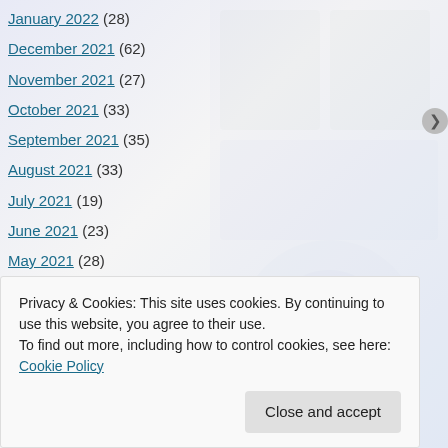January 2022 (28)
December 2021 (62)
November 2021 (27)
October 2021 (33)
September 2021 (35)
August 2021 (33)
July 2021 (19)
June 2021 (23)
May 2021 (28)
April 2021 (42)
March 2021 (44)
February 2021 (26)
January 2021 (32)
Privacy & Cookies: This site uses cookies. By continuing to use this website, you agree to their use.
To find out more, including how to control cookies, see here: Cookie Policy
Close and accept